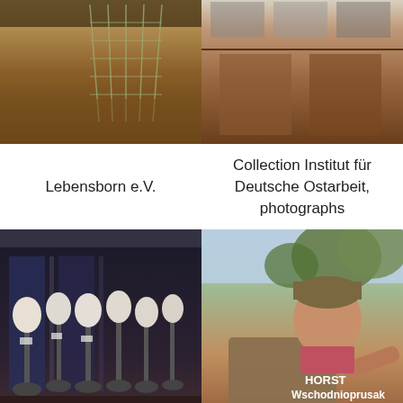[Figure (photo): Indoor room scene with warm brown wooden floor and a geometric cage/grid structure visible in background]
[Figure (photo): Brown wall or cabinet panels with some images/posters visible at top]
Lebensborn e.V.
Collection Institut für Deutsche Ostarbeit, photographs
[Figure (photo): Row of white plaster/ceramic face head sculptures on stands displayed against dark background in a museum setting]
[Figure (photo): Elderly man outdoors pointing at something, trees in background, with text overlay reading HORST Wschodnioprusak mieszkaniec Gładyszy]
Collection Institut für Deutsche Ostarbeit
Names that no one mentions anymore